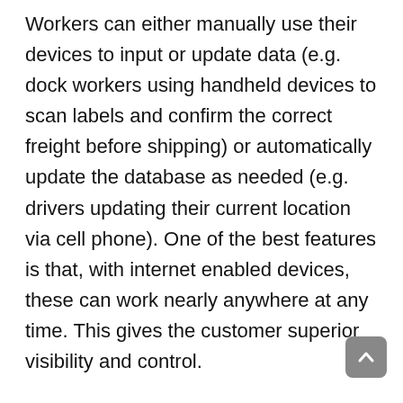Workers can either manually use their devices to input or update data (e.g. dock workers using handheld devices to scan labels and confirm the correct freight before shipping) or automatically update the database as needed (e.g. drivers updating their current location via cell phone). One of the best features is that, with internet enabled devices, these can work nearly anywhere at any time. This gives the customer superior visibility and control.
Blockchain– A popular trend in finance as well as logistics in 2019. Blockchain is the new method for sharing and storing data securely across a network of computers rather than on a single server. Data is more protected and much more difficult to infiltrate or manipulate. Smart contracts enable blockchain audit...